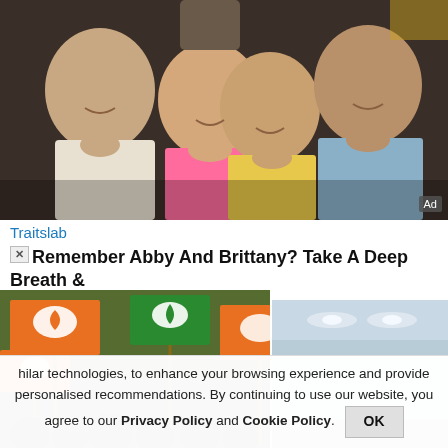[Figure (photo): Three smiling people posing together at what appears to be an outdoor evening setting. A young man in white shirt on the left, two blonde women in the center (one wearing pink), and a man in a striped shirt on the right. An 'Ad' badge is visible in the bottom-right corner of the photo.]
Traitslab
Remember Abby And Brittany? Take A Deep Breath &
[Figure (photo): Orange and green BJP (Indian political party) flags with lotus symbol being waved by a large crowd.]
[Figure (photo): Interior room photo showing a modern space with recessed ceiling lights.]
hilar technologies, to enhance your browsing experience and provide personalised recommendations. By continuing to use our website, you agree to our Privacy Policy and Cookie Policy.